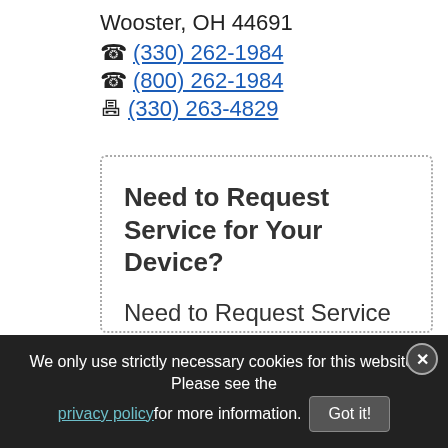Wooster, OH 44691
☎ (330) 262-1984
☎ (800) 262-1984
📠 (330) 263-4829
Need to Request Service for Your Device?
Need to Request Service for device repair or replacement parts? Please fill out and submit the Service Repair request form. Once received, a team member
We only use strictly necessary cookies for this website. Please see the privacy policy for more information. Got it!